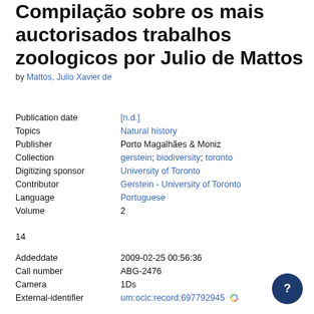Compilação sobre os mais auctorisados trabalhos zoologicos por Julio de Mattos
by Mattos, Julio Xavier de
| Field | Value |
| --- | --- |
| Publication date | [n.d.] |
| Topics | Natural history |
| Publisher | Porto Magalhães & Moniz |
| Collection | gerstein; biodiversity; toronto |
| Digitizing sponsor | University of Toronto |
| Contributor | Gerstein - University of Toronto |
| Language | Portuguese |
| Volume | 2 |
14
| Field | Value |
| --- | --- |
| Addeddate | 2009-02-25 00:56:36 |
| Call number | ABG-2476 |
| Camera | 1Ds |
| External-identifier | urn:oclc:record:697792945 |